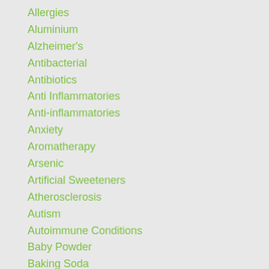Allergies
Aluminium
Alzheimer's
Antibacterial
Antibiotics
Anti Inflammatories
Anti-inflammatories
Anxiety
Aromatherapy
Arsenic
Artificial Sweeteners
Atherosclerosis
Autism
Autoimmune Conditions
Baby Powder
Baking Soda
Banned By Facebook
Bipolar Disorder
Blending